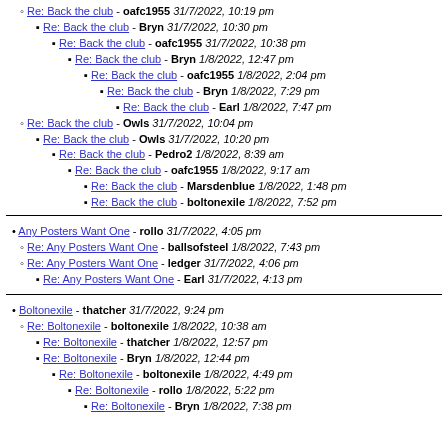Re: Back the club - oafc1955 31/7/2022, 10:19 pm
Re: Back the club - Bryn 31/7/2022, 10:30 pm
Re: Back the club - oafc1955 31/7/2022, 10:38 pm
Re: Back the club - Bryn 1/8/2022, 12:47 pm
Re: Back the club - oafc1955 1/8/2022, 2:04 pm
Re: Back the club - Bryn 1/8/2022, 7:29 pm
Re: Back the club - Earl 1/8/2022, 7:47 pm
Re: Back the club - Owls 31/7/2022, 10:04 pm
Re: Back the club - Owls 31/7/2022, 10:20 pm
Re: Back the club - Pedro2 1/8/2022, 8:39 am
Re: Back the club - oafc1955 1/8/2022, 9:17 am
Re: Back the club - Marsdenblue 1/8/2022, 1:48 pm
Re: Back the club - boltonexile 1/8/2022, 7:52 pm
Any Posters Want One - rollo 31/7/2022, 4:05 pm
Re: Any Posters Want One - ballsofsteel 1/8/2022, 7:43 pm
Re: Any Posters Want One - ledger 31/7/2022, 4:06 pm
Re: Any Posters Want One - Earl 31/7/2022, 4:13 pm
Boltonexile - thatcher 31/7/2022, 9:24 pm
Re: Boltonexile - boltonexile 1/8/2022, 10:38 am
Re: Boltonexile - thatcher 1/8/2022, 12:57 pm
Re: Boltonexile - Bryn 1/8/2022, 12:44 pm
Re: Boltonexile - boltonexile 1/8/2022, 4:49 pm
Re: Boltonexile - rollo 1/8/2022, 5:22 pm
Re: Boltonexile - Bryn 1/8/2022, 7:38 pm